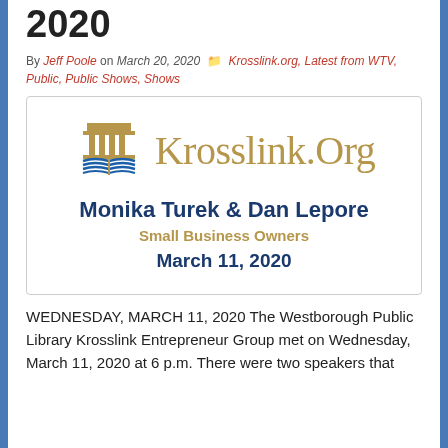2020
By Jeff Poole on March 20, 2020   Krosslink.org, Latest from WTV, Public, Public Shows, Shows
[Figure (illustration): Krosslink.Org logo with columned building icon and open book with blue pages, followed by bold blue text 'Monika Turek & Dan Lepore', gold text 'Small Business Owners', bold blue text 'March 11, 2020']
WEDNESDAY, MARCH 11, 2020 The Westborough Public Library Krosslink Entrepreneur Group met on Wednesday, March 11, 2020 at 6 p.m. There were two speakers that